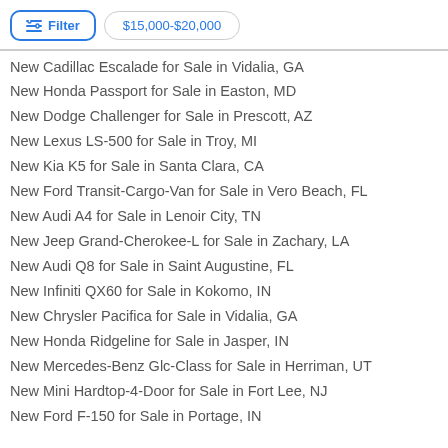Filter  $15,000-$20,000
New Cadillac Escalade for Sale in Vidalia, GA
New Honda Passport for Sale in Easton, MD
New Dodge Challenger for Sale in Prescott, AZ
New Lexus LS-500 for Sale in Troy, MI
New Kia K5 for Sale in Santa Clara, CA
New Ford Transit-Cargo-Van for Sale in Vero Beach, FL
New Audi A4 for Sale in Lenoir City, TN
New Jeep Grand-Cherokee-L for Sale in Zachary, LA
New Audi Q8 for Sale in Saint Augustine, FL
New Infiniti QX60 for Sale in Kokomo, IN
New Chrysler Pacifica for Sale in Vidalia, GA
New Honda Ridgeline for Sale in Jasper, IN
New Mercedes-Benz Glc-Class for Sale in Herriman, UT
New Mini Hardtop-4-Door for Sale in Fort Lee, NJ
New Ford F-150 for Sale in Portage, IN